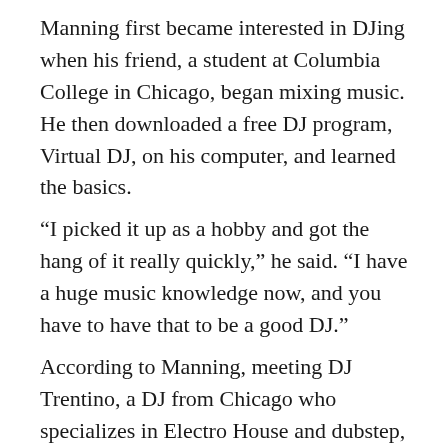Manning first became interested in DJing when his friend, a student at Columbia College in Chicago, began mixing music. He then downloaded a free DJ program, Virtual DJ, on his computer, and learned the basics.
“I picked it up as a hobby and got the hang of it really quickly,” he said. “I have a huge music knowledge now, and you have to have that to be a good DJ.”
According to Manning, meeting DJ Trentino, a DJ from Chicago who specializes in Electro House and dubstep, only heightened his passion. Manning added that Trentino was not as popular as other famous DJs, such as Avicii or Skrillex, but was